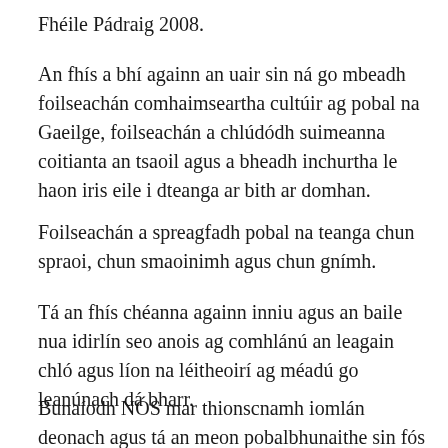Fhéile Pádraig 2008.
An fhís a bhí againn an uair sin ná go mbeadh foilseachán comhaimseartha cultúir ag pobal na Gaeilge, foilseachán a chlúdódh suimeanna coitianta an tsaoil agus a bheadh inchurtha le haon iris eile i dteanga ar bith ar domhan.
Foilseachán a spreagfadh pobal na teanga chun spraoi, chun smaoinimh agus chun gnímh.
Tá an fhís chéanna againn inniu agus an baile nua idirlín seo anois ag comhlánú an leagain chló agus líon na léitheoirí ag méadú go leanúnach dá bharr.
Bunaíodh NÓS mar thionscnamh iomlán deonach agus tá an meon pobalbhunaithe sin fós ag croílár